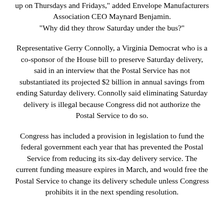up on Thursdays and Fridays," added Envelope Manufacturers Association CEO Maynard Benjamin. "Why did they throw Saturday under the bus?"
Representative Gerry Connolly, a Virginia Democrat who is a co-sponsor of the House bill to preserve Saturday delivery, said in an interview that the Postal Service has not substantiated its projected $2 billion in annual savings from ending Saturday delivery. Connolly said eliminating Saturday delivery is illegal because Congress did not authorize the Postal Service to do so.
Congress has included a provision in legislation to fund the federal government each year that has prevented the Postal Service from reducing its six-day delivery service. The current funding measure expires in March, and would free the Postal Service to change its delivery schedule unless Congress prohibits it in the next spending resolution.